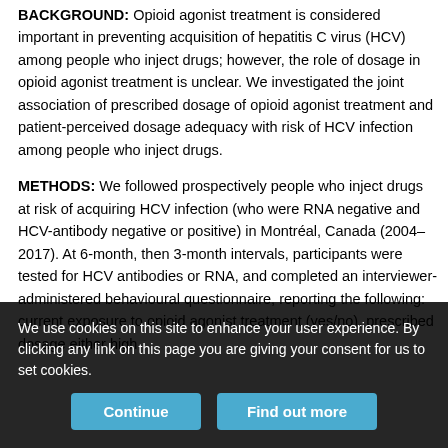BACKGROUND: Opioid agonist treatment is considered important in preventing acquisition of hepatitis C virus (HCV) among people who inject drugs; however, the role of dosage in opioid agonist treatment is unclear. We investigated the joint association of prescribed dosage of opioid agonist treatment and patient-perceived dosage adequacy with risk of HCV infection among people who inject drugs.
METHODS: We followed prospectively people who inject drugs at risk of acquiring HCV infection (who were RNA negative and HCV-antibody negative or positive) in Montréal, Canada (2004–2017). At 6-month, then 3-month intervals, participants were tested for HCV antibodies or RNA, and completed an interviewer-administered behavioural questionnaire, reporting the following: current exposure to opioid agonist treatment (yes/no), prescribed dosage either high
We use cookies on this site to enhance your user experience. By clicking any link on this page you are giving your consent for us to set cookies.